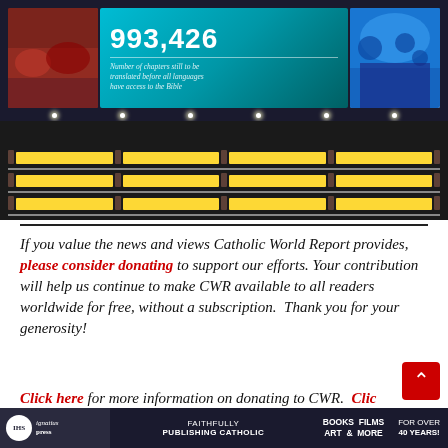[Figure (photo): Interior of a large display hall with curved video screens showing '993,426 — Number of chapters still to be translated before all languages have access to the Bible', flanked by images of people. Below the screens are shelves filled with yellow books, lit by spotlights.]
If you value the news and views Catholic World Report provides, please consider donating to support our efforts. Your contribution will help us continue to make CWR available to all readers worldwide for free, without a subscription. Thank you for your generosity!
Click here for more information on donating to CWR. Click to sign up for our newsletter.
Ignatius Press — FAITHFULLY PUBLISHING CATHOLIC — BOOKS FILMS ART & MORE — FOR OVER 40 YEARS!